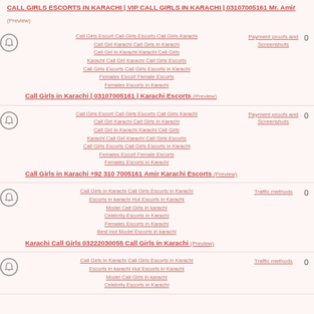CALL GIRLS ESCORTS IN KARACHI | VIP CALL GIRLS IN KARACHI | 03107005161 Mr. Amir (Preview)
Call Girls Escort Call Girls Escorts Call Girls Karachi Call Girl Karachi Call Girls in Karachi Call Girl in Karachi Karachi Call Girls Karachi Call Girl Karachi Call Girls Escorts Call Girls Escorts Call Girls Escorts in Karachi Females Escort Female Escorts Females Escorts in Karachi | Call Girls in Karachi | 03107005161 | Karachi Escorts (Preview) | Payment proofs and Screenshots | 0
Call Girls Escort Call Girls Escorts Call Girls Karachi Call Girl Karachi Call Girls in Karachi Call Girl in Karachi Karachi Call Girls Karachi Call Girl Karachi Call Girls Escorts Call Girls Escorts Call Girls Escorts in Karachi Females Escort Female Escorts Females Escorts in Karachi | Call Girls in Karachi +92 310 7005161 Amir Karachi Escorts (Preview) | Payment proofs and Screenshots | 0
Call Girls in Karachi Call Girls Escorts in Karachi Escorts in karachi Hot Escorts in Karachi Model Call Girls in karachi Celebrity Escorts in Karachi Females Escorts in Karachi Best Hot Model Escorts in karachi | Karachi Call Girls 03222030055 Call Girls in Karachi (Preview) | Traffic methods | 0
Call Girls in Karachi Call Girls Escorts in Karachi Escorts in karachi Hot Escorts in Karachi Model Call Girls in karachi Celebrity Escorts in Karachi | Traffic methods | 0